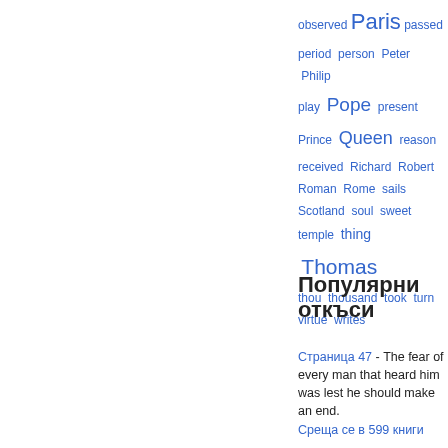observed Paris passed period person Peter Philip play Pope present Prince Queen reason received Richard Robert Roman Rome sails Scotland soul sweet temple thing Thomas thou thousand took turn virtue writes
Популярни откъси
Страница 47 - The fear of every man that heard him was lest he should make an end. Среща се в 599 книги